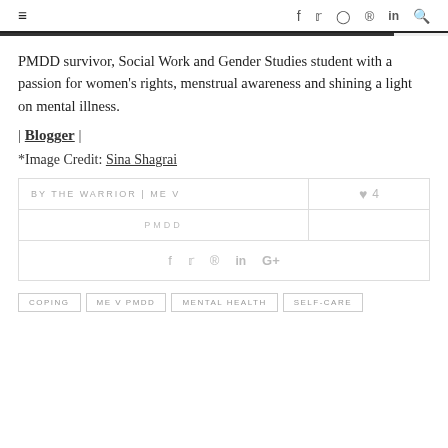≡  f  𝕥  ⊙  ⊕  in  🔍
PMDD survivor, Social Work and Gender Studies student with a passion for women's rights, menstrual awareness and shining a light on mental illness.
| Blogger |
*Image Credit: Sina Shagrai
| BY THE WARRIOR | ME V | ♥ 4 |
| --- | --- |
| PMDD |  |
f  𝕥  ⊕  in  G+
COPING
ME V PMDD
MENTAL HEALTH
SELF-CARE